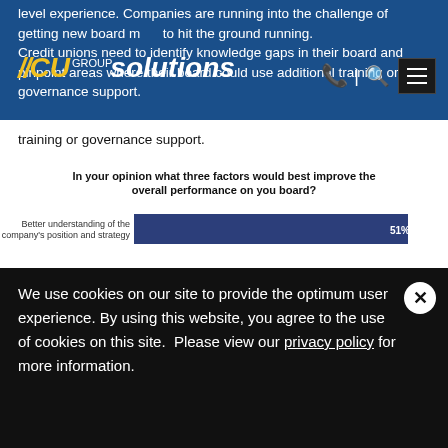level experience. Companies are running into the challenge of getting new board members to hit the ground running. Credit unions need to identify knowledge gaps in their board and pinpoint areas where their board could use additional training or governance support.
[Figure (bar-chart): In your opinion what three factors would best improve the overall performance on you board?]
We use cookies on our site to provide the optimum user experience. By using this website, you agree to the use of cookies on this site.  Please view our privacy policy for more information.